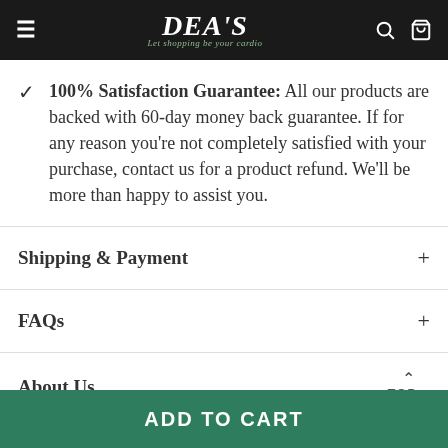DEA'S — Let shopping be your cardio
100% Satisfaction Guarantee: All our products are backed with 60-day money back guarantee. If for any reason you're not completely satisfied with your purchase, contact us for a product refund. We'll be more than happy to assist you.
Shipping & Payment
FAQs
About Us
ADD TO CART